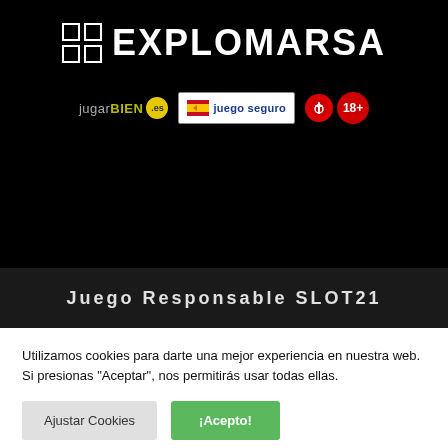[Figure (logo): EXPLOMARSA logo: four white squares in a 2x2 grid followed by white text EXPLOMARSA on black background]
[Figure (infographic): Row of compliance badges: JugarBien.es responsible gambling badge, Juego Seguro badge with Spanish flag, and 18+ age restriction badge]
Juego Responsable SLOT21
Utilizamos cookies para darte una mejor experiencia en nuestra web. Si presionas "Aceptar", nos permitirás usar todas ellas.
Ajustar Cookies
¡Acepto!